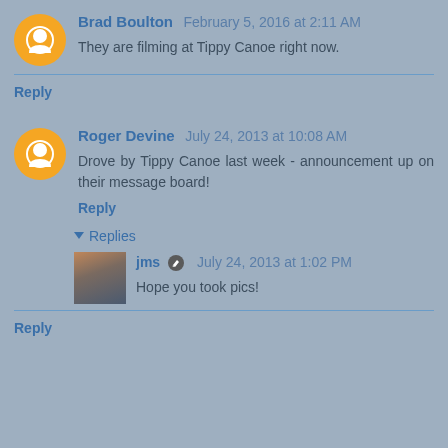Brad Boulton  February 5, 2016 at 2:11 AM
They are filming at Tippy Canoe right now.
Reply
Roger Devine  July 24, 2013 at 10:08 AM
Drove by Tippy Canoe last week - announcement up on their message board!
Reply
Replies
jms  July 24, 2013 at 1:02 PM
Hope you took pics!
Reply